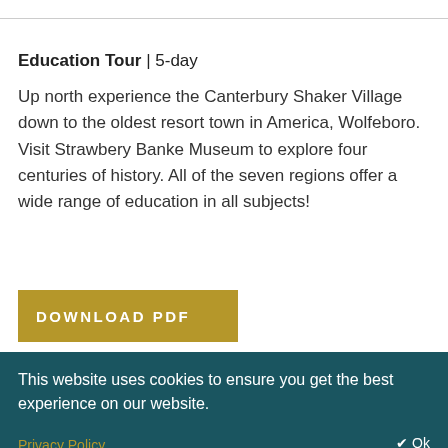Education Tour | 5-day
Up north experience the Canterbury Shaker Village down to the oldest resort town in America, Wolfeboro. Visit Strawbery Banke Museum to explore four centuries of history. All of the seven regions offer a wide range of education in all subjects!
[Figure (other): Golden/olive colored DOWNLOAD PDF button]
This website uses cookies to ensure you get the best experience on our website.
Privacy Policy
✔ Ok
visitors with activities from garden tours, nature